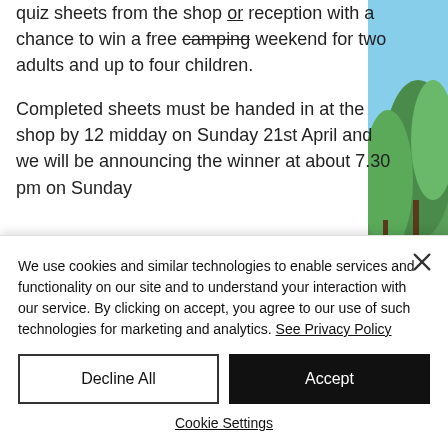quiz sheets from the shop or reception with a chance to win a free camping weekend for two adults and up to four children.
Completed sheets must be handed in at the shop by 12 midday on Sunday 21st April and we will be announcing the winner at about 7.30 pm on Sunday
[Figure (photo): Partial photo of trees against a blue sky, visible on the right side of the page]
We use cookies and similar technologies to enable services and functionality on our site and to understand your interaction with our service. By clicking on accept, you agree to our use of such technologies for marketing and analytics. See Privacy Policy
Decline All
Accept
Cookie Settings